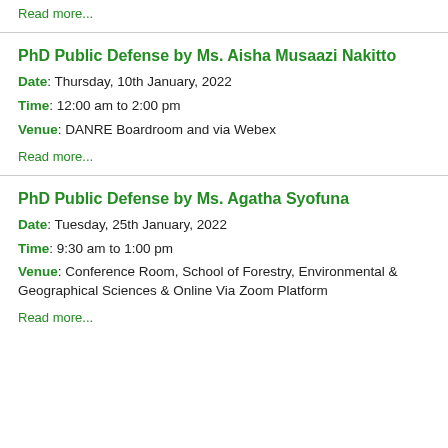Read more...
PhD Public Defense by Ms. Aisha Musaazi Nakitto
Date: Thursday, 10th January, 2022
Time: 12:00 am to 2:00 pm
Venue: DANRE Boardroom and via Webex
Read more...
PhD Public Defense by Ms. Agatha Syofuna
Date: Tuesday, 25th January, 2022
Time: 9:30 am to 1:00 pm
Venue: Conference Room, School of Forestry, Environmental & Geographical Sciences & Online Via Zoom Platform
Read more...